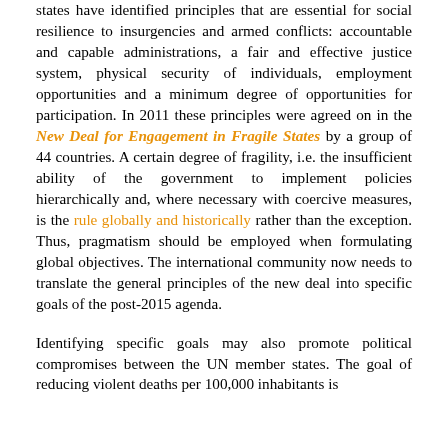states have identified principles that are essential for social resilience to insurgencies and armed conflicts: accountable and capable administrations, a fair and effective justice system, physical security of individuals, employment opportunities and a minimum degree of opportunities for participation. In 2011 these principles were agreed on in the New Deal for Engagement in Fragile States by a group of 44 countries. A certain degree of fragility, i.e. the insufficient ability of the government to implement policies hierarchically and, where necessary with coercive measures, is the rule globally and historically rather than the exception. Thus, pragmatism should be employed when formulating global objectives. The international community now needs to translate the general principles of the new deal into specific goals of the post-2015 agenda.
Identifying specific goals may also promote political compromises between the UN member states. The goal of reducing violent deaths per 100,000 inhabitants is